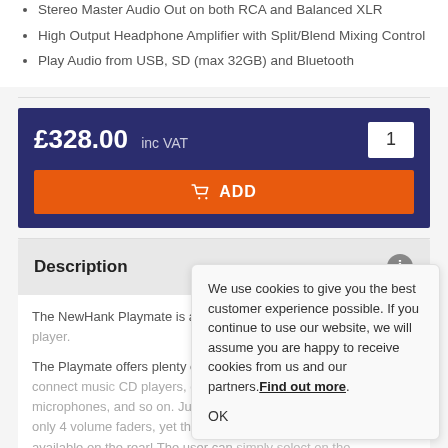Stereo Master Audio Out on both RCA and Balanced XLR
High Output Headphone Amplifier with Split/Blend Mixing Control
Play Audio from USB, SD (max 32GB) and Bluetooth
£328.00 inc VAT  [quantity: 1]  ADD
Description
The NewHank Playmate is a profess... rack mixer and media player.
The Playmate offers plenty of contro... channels and lets you connect musi... CD players, other type of players or... microphones, and so on. Just 4U hi... only 4 volume faders, yet there are p... available on the rear! The user can simply select on the front which input you would like to use, put simply there
We use cookies to give you the best customer experience possible. If you continue to use our website, we will assume you are happy to receive cookies from us and our partners. Find out more. OK